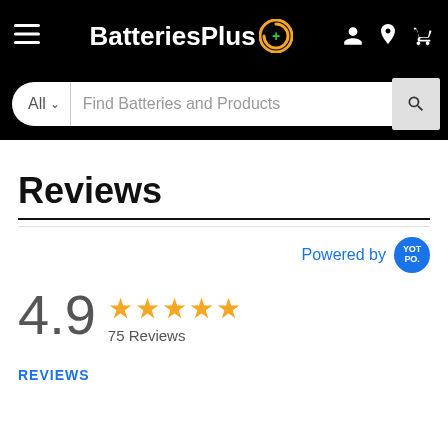[Figure (screenshot): BatteriesPlus navigation bar with hamburger menu, logo, and icons for account, location, and cart on black background]
[Figure (screenshot): Search bar with 'All' dropdown and 'Find Batteries and Products' placeholder text and search button]
Reviews
Powered by YOTPO
4.9 ★★★★★ 75 Reviews
REVIEWS